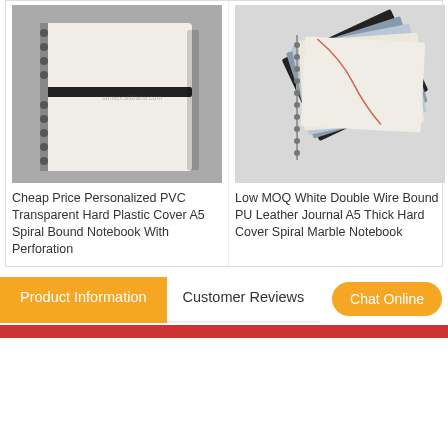[Figure (photo): White PVC spiral bound notebook with black elastic band on gray background]
Cheap Price Personalized PVC Transparent Hard Plastic Cover A5 Spiral Bound Notebook With Perforation
[Figure (photo): Fan of marble-patterned spiral bound notebooks in various colors on white background]
Low MOQ White Double Wire Bound PU Leather Journal A5 Thick Hard Cover Spiral Marble Notebook
Product Information
Customer Reviews
Chat Online